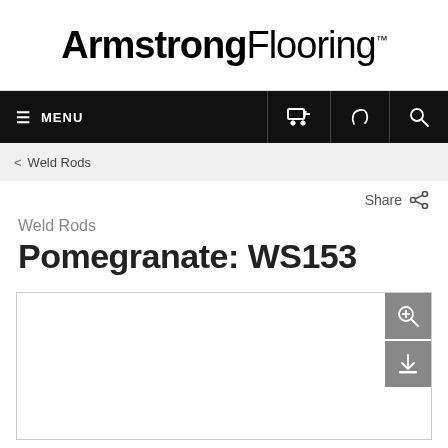[Figure (logo): Armstrong Flooring logo — 'Armstrong' in bold black and 'Flooring' in regular weight, with a trademark symbol]
≡ MENU [cart icon] [phone icon] [search icon]
< Weld Rods
Share
Weld Rods
Pomegranate: WS153
[Figure (photo): Product image area with zoom and download buttons in grey, image content not visible]